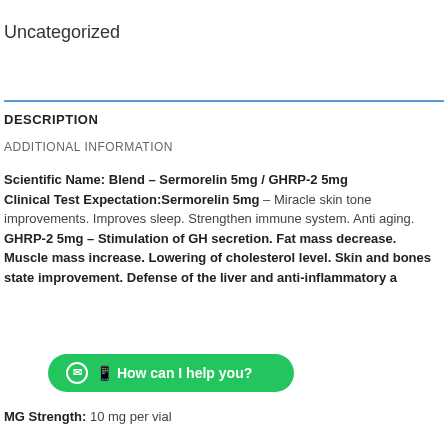Uncategorized
DESCRIPTION
ADDITIONAL INFORMATION
Scientific Name: Blend – Sermorelin 5mg / GHRP-2 5mg Clinical Test Expectation:Sermorelin 5mg – Miracle skin tone improvements. Improves sleep. Strengthen immune system. Anti aging. GHRP-2 5mg – Stimulation of GH secretion. Fat mass decrease. Muscle mass increase. Lowering of cholesterol level. Skin and bones state improvement. Defense of the liver and anti-inflammatory a...
MG Strength: 10 mg per vial
[Figure (other): Green WhatsApp chat button with text 'How can I help you?']